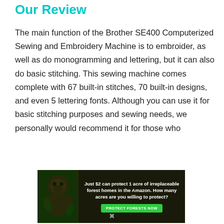Our Review
The main function of the Brother SE400 Computerized Sewing and Embroidery Machine is to embroider, as well as do monogramming and lettering, but it can also do basic stitching. This sewing machine comes complete with 67 built-in stitches, 70 built-in designs, and even 5 lettering fonts. Although you can use it for basic stitching purposes and sewing needs, we personally would recommend it for those who
[Figure (infographic): Advertisement banner: dark background with image of gorilla/orangutan in forest setting. Text reads: 'Just $2 can protect 1 acre of irreplaceable forest homes in the Amazon. How many acres are you willing to protect?' with a green 'PROTECT FORESTS NOW' button.]